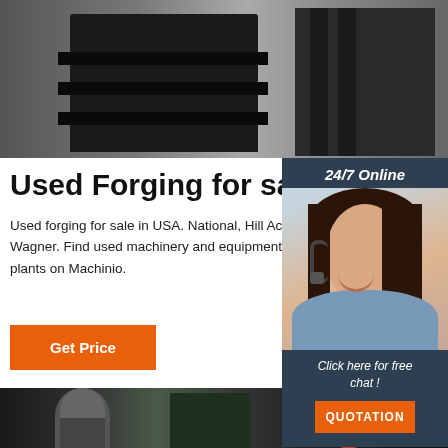[Figure (photo): Photo of used forging/industrial machinery equipment, dark metallic machines on shelves]
Used Forging for sale in US
Used forging for sale in USA. National, Hill Acr Wagner. Find used machinery and equipment plants on Machinio.
[Figure (photo): 24/7 Online chat widget with woman wearing headset, smiling, with 'Click here for free chat!' and QUOTATION button]
[Figure (photo): Photo of worker in black t-shirt with Anyang ST logo standing in front of industrial forging equipment, with TOP watermark overlay]
Get Price
Click here for free chat !
QUOTATION